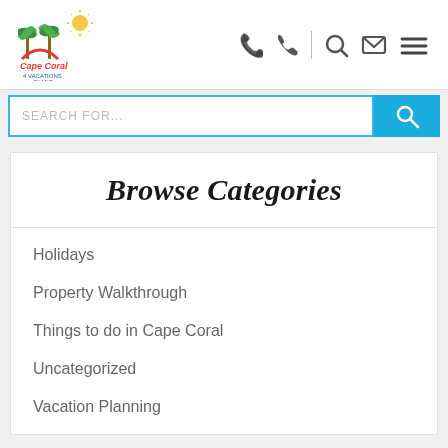[Figure (logo): Cape Coral 4 Vacations by MHB logo with palm trees and red arch over water]
[Figure (infographic): Navigation icons: phone, vertical divider, search, envelope, hamburger menu]
[Figure (screenshot): Search input bar with blue border and blue search button on the right]
Browse Categories
Holidays
Property Walkthrough
Things to do in Cape Coral
Uncategorized
Vacation Planning